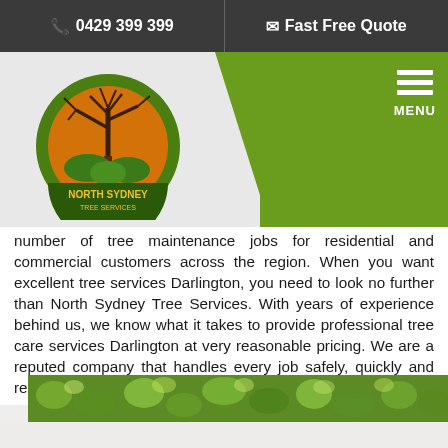0429 399 399 | Fast Free Quote
[Figure (logo): North Sydney Tree Services logo with tree graphic on orange circle with green outer ring]
number of tree maintenance jobs for residential and commercial customers across the region. When you want excellent tree services Darlington, you need to look no further than North Sydney Tree Services. With years of experience behind us, we know what it takes to provide professional tree care services Darlington at very reasonable pricing. We are a reputed company that handles every job safely, quickly and reliably.
[Figure (photo): Green leafy tree canopy photo strip]